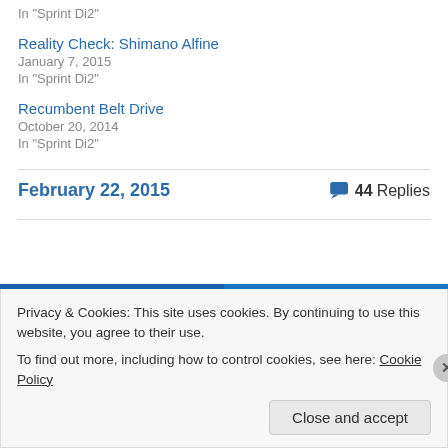In "Sprint Di2"
Reality Check: Shimano Alfine
January 7, 2015
In "Sprint Di2"
Recumbent Belt Drive
October 20, 2014
In "Sprint Di2"
February 22, 2015
44 Replies
Privacy & Cookies: This site uses cookies. By continuing to use this website, you agree to their use.
To find out more, including how to control cookies, see here: Cookie Policy
Close and accept